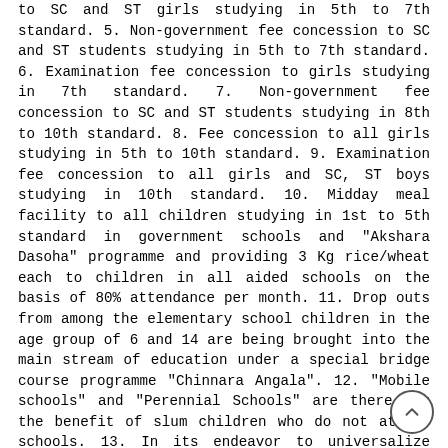to SC and ST girls studying in 5th to 7th standard. 5. Non-government fee concession to SC and ST students studying in 5th to 7th standard. 6. Examination fee concession to girls studying in 7th standard. 7. Non-government fee concession to SC and ST students studying in 8th to 10th standard. 8. Fee concession to all girls studying in 5th to 10th standard. 9. Examination fee concession to all girls and SC, ST boys studying in 10th standard. 10. Midday meal facility to all children studying in 1st to 5th standard in government schools and "Akshara Dasoha" programme and providing 3 Kg rice/wheat each to children in all aided schools on the basis of 80% attendance per month. 11. Drop outs from among the elementary school children in the age group of 6 and 14 are being brought into the main stream of education under a special bridge course programme "Chinnara Angala". 12. "Mobile schools" and "Perennial Schools" are there for the benefit of slum children who do not attend schools. 13. In its endeavor to universalize education, the government are working with nongovernment organizations such as Infosys, Iscon, Ajim Premji Foundations and educational institutions such as NUIU, NIAS, ISEC, Bangalore University and the like. With the help of donors it is possible to impart